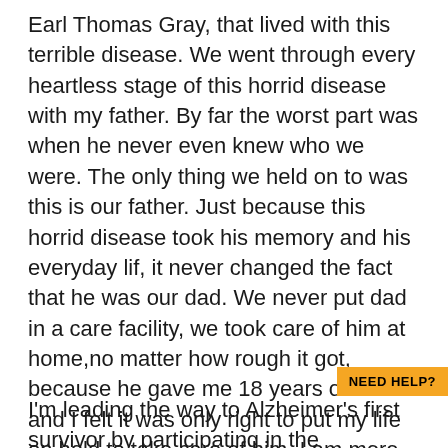Earl Thomas Gray, that lived with this terrible disease. We went through every heartless stage of this horrid disease with my father. By far the worst part was when he never even knew who we were. The only thing we held on to was this is our father. Just because this horrid disease took his memory and his everyday lif, it never changed the fact that he was our dad. We never put dad in a care facility, we took care of him at home,no matter how rough it got, because he gave me 18 years of his life and I felt it was only right to put my life on hold to take care of him. I am more that glad I spent my father's last few years with him no matter how hard it was. My dad was my best friend and I loved him dearly.
NEED HELP?
I'm leading the way to Alzheimer's first survivor by participating in the Alzheimer's Association Walk to